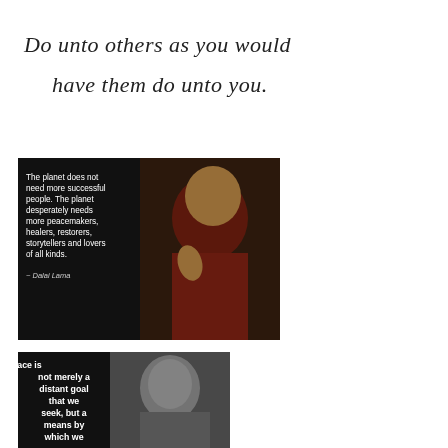Do unto others as you would have them do unto you.
[Figure (photo): Black background image with Dalai Lama photo on right (wearing red robes, hands pressed together, smiling) and white quote text on left: 'The planet does not need more successful people. The planet desperately needs more peacemakers, healers, restorers, storytellers and lovers of all kinds.' with attribution '~ Dalai Lama']
[Figure (photo): Dark background image with black-and-white photo of Martin Luther King Jr. on right, and white bold quote text on left: '"Peace is not merely a distant goal that we seek, but a means by which we arrive at...']